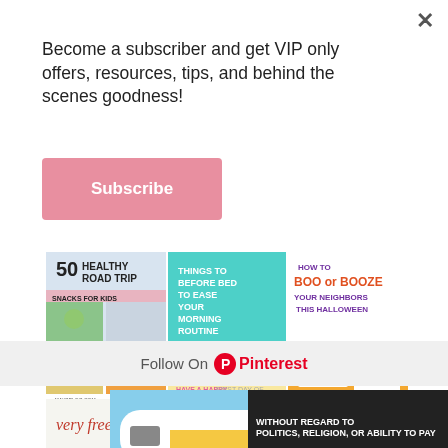Become a subscriber and get VIP only offers, resources, tips, and behind the scenes goodness!
Subscribe
[Figure (screenshot): Collage of Pinterest-style blog post images including healthy road trip snacks, things to do before bed, how to boo or booze your neighbors, free printable back to school, trying to keep your kids off]
Follow On Pinterest
[Figure (photo): Southwest Airlines airplane on tarmac with luggage being loaded]
WITHOUT REGARD TO POLITICS, RELIGION, OR ABILITY TO PAY